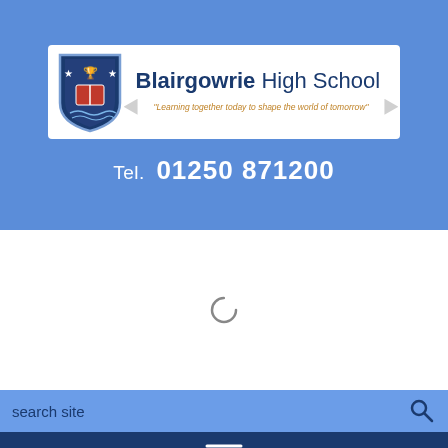[Figure (logo): Blairgowrie High School logo with shield crest, school name, and tagline banner reading 'Learning together today to shape the world of tomorrow']
Tel.  01250 871200
[Figure (other): Loading spinner circle indicator in center of white content area]
search site
[Figure (other): Navigation hamburger menu icon (three horizontal lines) on dark blue bar]
Parent Council